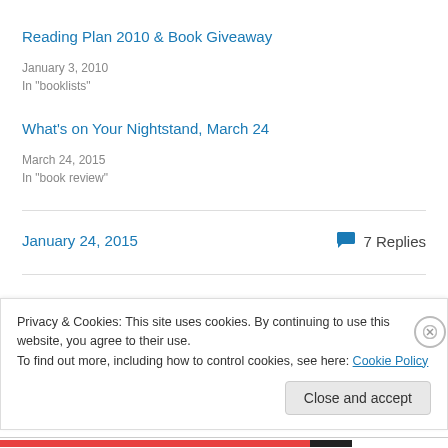Reading Plan 2010 & Book Giveaway
January 3, 2010
In "booklists"
What's on Your Nightstand, March 24
March 24, 2015
In "book review"
January 24, 2015
7 Replies
Privacy & Cookies: This site uses cookies. By continuing to use this website, you agree to their use.
To find out more, including how to control cookies, see here: Cookie Policy
Close and accept